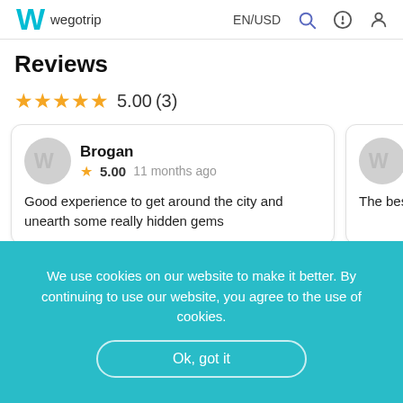wegotrip EN/USD
Reviews
★★★★★ 5.00 (3)
Brogan
★ 5.00  11 months ago
Good experience to get around the city and unearth some really hidden gems
Vic
★ 5…
The best tour…
We use cookies on our website to make it better. By continuing to use our website, you agree to the use of cookies.
Ok, got it